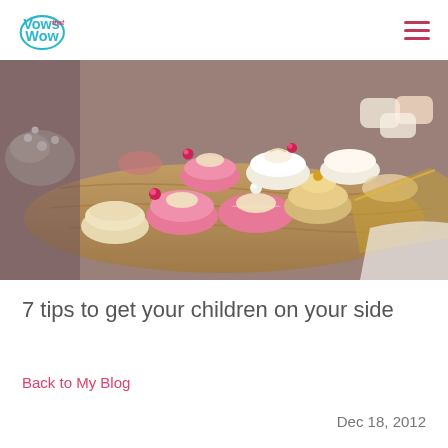Vows that Wow
[Figure (photo): A tray of pink and white petit fours or chocolate bonbons decorated with small pink metallic balls, arranged on a wooden board with flowers in the background.]
7 tips to get your children on your side
Back to My Blog
Dec 18, 2012